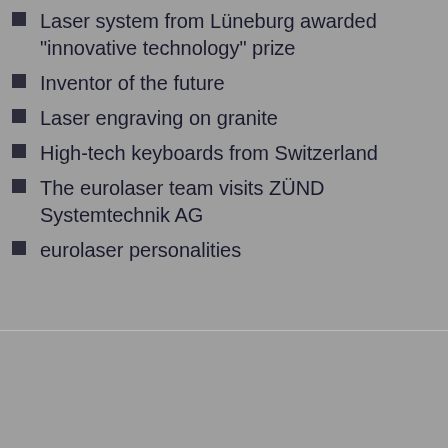Laser system from Lüneburg awarded "innovative technology" prize
Inventor of the future
Laser engraving on granite
High-tech keyboards from Switzerland
The eurolaser team visits ZÜND Systemtechnik AG
eurolaser personalities
Laserpoint 10
[Figure (photo): Cover image of eurolaser Laserpoint magazine issue 10, showing a laser beam graphic and the magazine title LASERPOINT]